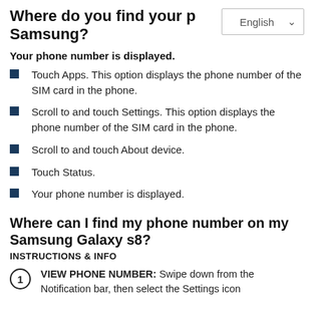Where do you find your phone number on your Samsung?
Your phone number is displayed.
Touch Apps. This option displays the phone number of the SIM card in the phone.
Scroll to and touch Settings. This option displays the phone number of the SIM card in the phone.
Scroll to and touch About device.
Touch Status.
Your phone number is displayed.
Where can I find my phone number on my Samsung Galaxy s8?
INSTRUCTIONS & INFO
VIEW PHONE NUMBER: Swipe down from the Notification bar, then select the Settings icon